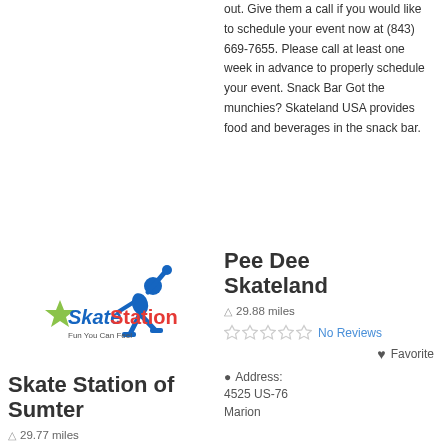out. Give them a call if you would like to schedule your event now at (843) 669-7655. Please call at least one week in advance to properly schedule your event. Snack Bar Got the munchies? Skateland USA provides food and beverages in the snack bar.
[Figure (logo): Skate Station logo with blue skater figure and colorful text]
Pee Dee Skateland
29.88 miles
No Reviews
Favorite
Address:
4525 US-76
Marion
Skate Station of Sumter
29.77 miles
No Reviews